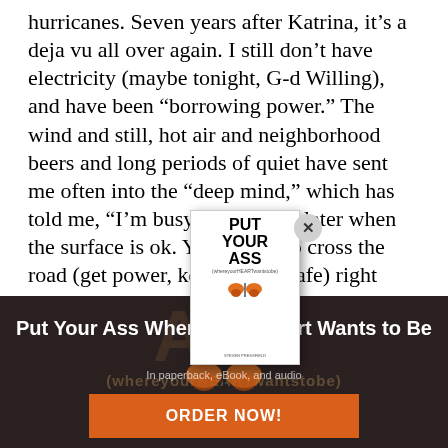hurricanes. Seven years after Katrina, it’s a deja vu all over again. I still don’t have electricity (maybe tonight, G-d Willing), and have been “borrowing power.” The wind and still, hot air and neighborhood beers and long periods of quiet have sent me often into the “deep mind,” which has told me, “I’m busy, come back later when the surface is ok. You’ve got to cross the road (get power, keep family safe) right no[…]‘ve got lots to discuss because I, the Deep M[…] working overti[…].”
[Figure (illustration): Book cover popup for 'Put Your Ass Where Your Heart Wants to Be' showing white book with bold black title text and orange butterfly, with a close/X button]
[Figure (photo): Dark brownish advertisement banner showing large background text 'ASS' and a butterfly, with white bold title 'Put Your Ass Where Your Heart Wants to Be', subtitle 'In paperback, eBook, and audio', and an orange ORDER NOW! button]
Put Your Ass Where Your Heart Wants to Be
In paperback, eBook, and audio
ORDER NOW!